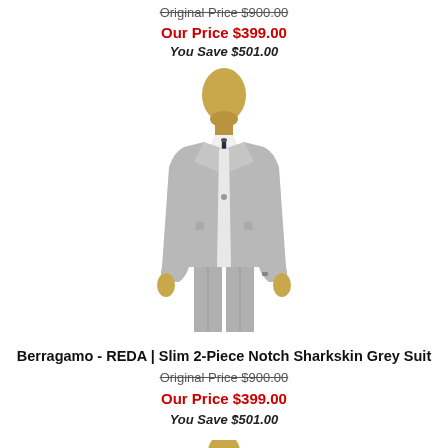Original Price $900.00
Our Price $399.00
You Save $501.00
[Figure (photo): Gold mannequin wearing a slim 2-piece notch sharkskin grey suit with white shirt and dark patterned tie]
Berragamo - REDA | Slim 2-Piece Notch Sharkskin Grey Suit
Original Price $900.00
Our Price $399.00
You Save $501.00
[Figure (photo): Gold mannequin wearing a slim suit with white shirt and red tie, partially visible at bottom of page]